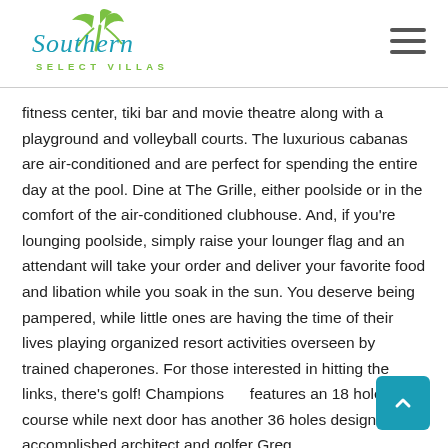Southern Select Villas
fitness center, tiki bar and movie theatre along with a playground and volleyball courts. The luxurious cabanas are air-conditioned and are perfect for spending the entire day at the pool. Dine at The Grille, either poolside or in the comfort of the air-conditioned clubhouse. And, if you're lounging poolside, simply raise your lounger flag and an attendant will take your order and deliver your favorite food and libation while you soak in the sun. You deserve being pampered, while little ones are having the time of their lives playing organized resort activities overseen by trained chaperones. For those interested in hitting the links, there's golf! Champions features an 18 hole golf course while next door has another 36 holes designed by accomplished architect and golfer Greg